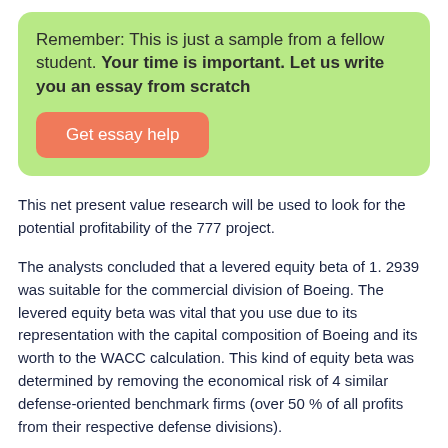Remember: This is just a sample from a fellow student. Your time is important. Let us write you an essay from scratch
Get essay help
This net present value research will be used to look for the potential profitability of the 777 project.
The analysts concluded that a levered equity beta of 1. 2939 was suitable for the commercial division of Boeing. The levered equity beta was vital that you use due to its representation with the capital composition of Boeing and its worth to the WACC calculation. This kind of equity beta was determined by removing the economical risk of 4 similar defense-oriented benchmark firms (over 50 % of all profits from their respective defense divisions).
The Value Collection betas of Lockheed, Northrop, Grumman, and McDonnell-Douglas had been unlevered using the following formulation U same dengan (L) / ((1+(1-t)(D/E)). The betas of